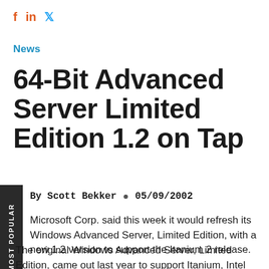f  in  🐦
News
64-Bit Advanced Server Limited Edition 1.2 on Tap
MOST POPULAR
By Scott Bekker  •  05/09/2002
Microsoft Corp. said this week it would refresh its Windows Advanced Server, Limited Edition, with a new 1.2 version to support the Itanium 2 release.
The original Windows Advanced Server, Limited Edition, came out last year to support Itanium, Intel Corp.'s first